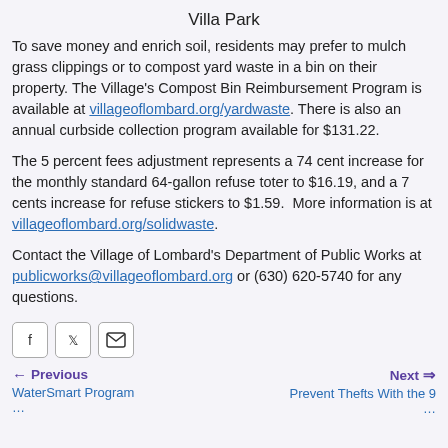Villa Park
To save money and enrich soil, residents may prefer to mulch grass clippings or to compost yard waste in a bin on their property. The Village's Compost Bin Reimbursement Program is available at villageoflombard.org/yardwaste. There is also an annual curbside collection program available for $131.22.
The 5 percent fees adjustment represents a 74 cent increase for the monthly standard 64-gallon refuse toter to $16.19, and a 7 cents increase for refuse stickers to $1.59. More information is at villageoflombard.org/solidwaste.
Contact the Village of Lombard's Department of Public Works at publicworks@villageoflombard.org or (630) 620-5740 for any questions.
[Figure (other): Social sharing buttons: Facebook, Twitter, Email]
Previous | WaterSmart Program ... | Next | Prevent Thefts With the 9 ...